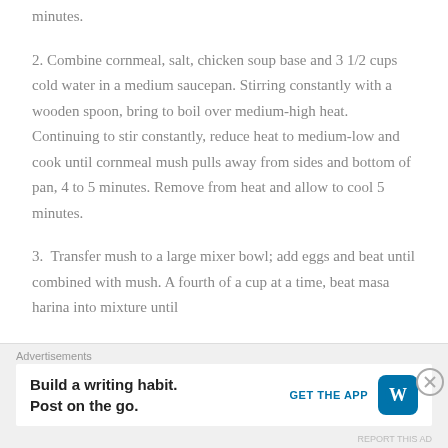minutes.
2. Combine cornmeal, salt, chicken soup base and 3 1/2 cups cold water in a medium saucepan. Stirring constantly with a wooden spoon, bring to boil over medium-high heat. Continuing to stir constantly, reduce heat to medium-low and cook until cornmeal mush pulls away from sides and bottom of pan, 4 to 5 minutes. Remove from heat and allow to cool 5 minutes.
3.  Transfer mush to a large mixer bowl; add eggs and beat until combined with mush. A fourth of a cup at a time, beat masa harina into mixture until
Advertisements
Build a writing habit. Post on the go.